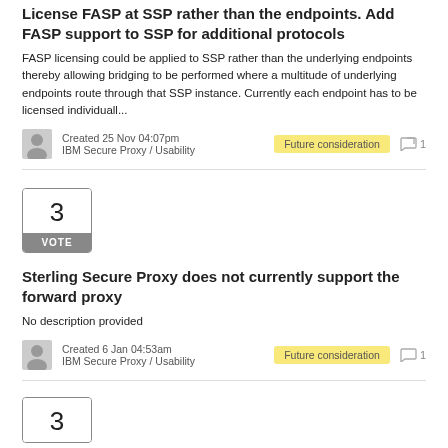License FASP at SSP rather than the endpoints. Add FASP support to SSP for additional protocols
FASP licensing could be applied to SSP rather than the underlying endpoints thereby allowing bridging to be performed where a multitude of underlying endpoints route through that SSP instance. Currently each endpoint has to be licensed individuall...
Created 25 Nov 04:07pm
IBM Secure Proxy / Usability
Future consideration
1
[Figure (other): Vote box showing number 3 with VOTE label]
Sterling Secure Proxy does not currently support the forward proxy
No description provided
Created 6 Jan 04:53am
IBM Secure Proxy / Usability
Future consideration
1
[Figure (other): Vote box showing number 3 (partially visible) with VOTE label]